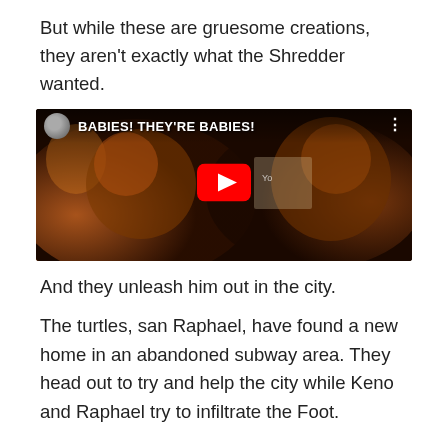But while these are gruesome creations, they aren't exactly what the Shredder wanted.
[Figure (screenshot): YouTube video embed showing two creature/monster characters from what appears to be TMNT movie. Title bar reads 'BABIES! THEY'RE BABIES!' with a red YouTube play button overlay in the center.]
And they unleash him out in the city.
The turtles, san Raphael, have found a new home in an abandoned subway area. They head out to try and help the city while Keno and Raphael try to infiltrate the Foot.